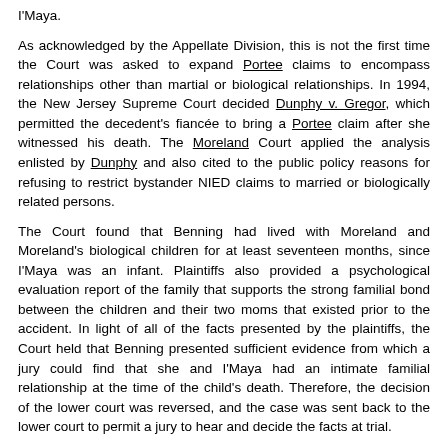I'Maya.
As acknowledged by the Appellate Division, this is not the first time the Court was asked to expand Portee claims to encompass relationships other than martial or biological relationships. In 1994, the New Jersey Supreme Court decided Dunphy v. Gregor, which permitted the decedent's fiancée to bring a Portee claim after she witnessed his death. The Moreland Court applied the analysis enlisted by Dunphy and also cited to the public policy reasons for refusing to restrict bystander NIED claims to married or biologically related persons.
The Court found that Benning had lived with Moreland and Moreland's biological children for at least seventeen months, since I'Maya was an infant. Plaintiffs also provided a psychological evaluation report of the family that supports the strong familial bond between the children and their two moms that existed prior to the accident. In light of all of the facts presented by the plaintiffs, the Court held that Benning presented sufficient evidence from which a jury could find that she and I'Maya had an intimate familial relationship at the time of the child's death. Therefore, the decision of the lower court was reversed, and the case was sent back to the lower court to permit a jury to hear and decide the facts at trial.
The Moreland case is tremendously important in emphasizing